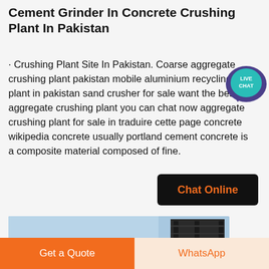Cement Grinder In Concrete Crushing Plant In Pakistan
· Crushing Plant Site In Pakistan. Coarse aggregate crushing plant pakistan mobile aluminium recycling plant in pakistan sand crusher for sale want the best aggregate crushing plant you can chat now aggregate crushing plant for sale in traduire cette page concrete wikipedia concrete usually portland cement concrete is a composite material composed of fine.
[Figure (other): Live Chat speech bubble icon with teal/purple coloring and 'LIVE CHAT' text]
[Figure (other): Black button with orange 'Chat Online' text]
[Figure (photo): Photo of an industrial crushing plant machinery against a blue sky background]
[Figure (other): Bottom bar with orange 'Get a Quote' button and light 'WhatsApp' button]